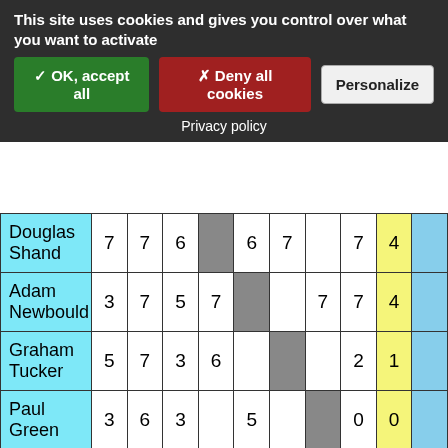This site uses cookies and gives you control over what you want to activate
✓ OK, accept all | ✗ Deny all cookies | Personalize
Privacy policy
| Name | col1 | col2 | col3 | col4 | col5 | col6 | col7 | col8 | col9 | col10 |
| --- | --- | --- | --- | --- | --- | --- | --- | --- | --- | --- |
| Douglas Shand | 7 | 7 | 6 |  | 6 | 7 |  | 7 | 4 |  |
| Adam Newbould | 3 | 7 | 5 | 7 |  |  | 7 | 7 | 4 |  |
| Graham Tucker | 5 | 7 | 3 | 6 |  |  |  | 2 | 1 |  |
| Paul Green | 3 | 6 | 3 |  | 5 |  |  | 0 | 0 |  |
| Vincent L? | 3 | 7 |  | 3 | 6 | 7 | 7 |  | 3 |  |